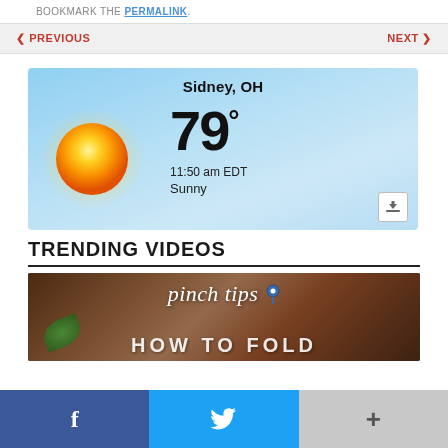BOOKMARK THE PERMALINK.
< PREVIOUS   NEXT >
[Figure (infographic): Weather widget showing Sidney, OH. Temperature: 79°, 11:50 am EDT, Sunny, with a yellow sun icon on a blue gradient background.]
TRENDING VIDEOS
[Figure (screenshot): Video thumbnail with text 'pinch tips' in italic and 'HOW TO FOLD' partially visible, with green herb and brown bowl background.]
f
🐦
+